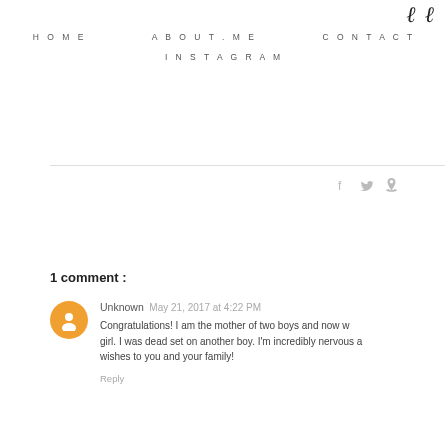HOME   ABOUT.ME   CONTACT   INSTAGRAM
[Figure (other): Social share icons: f (Facebook), bird (Twitter), pin (Pinterest)]
1 comment :
Unknown  May 21, 2017 at 4:22 PM
Congratulations! I am the mother of two boys and now w... girl. I was dead set on another boy. I'm incredibly nervous a... wishes to you and your family!
Reply